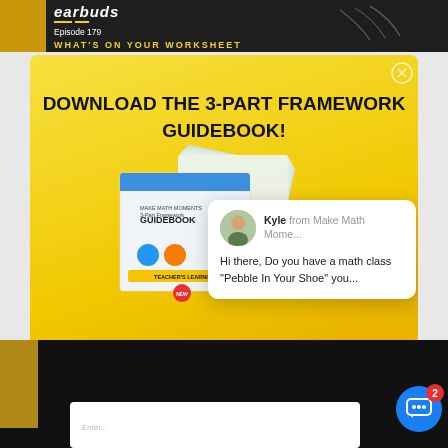[Figure (screenshot): Top portion of a podcast/video page showing 'earbuds' episode 179 with text 'WHAT'S ON YOUR WORKSHEET' on a dark background]
[Figure (infographic): Yellow promotional popup box with title 'DOWNLOAD THE 3-PART FRAMEWORK GUIDEBOOK!' showing fanned-out guidebook pages, and a white chat popup from 'Kyle from Make Math Mome...' saying 'Hi there, Do you have a math class "Pebble In Your Shoe" you...' and subtitle 'Download the 20+ p... Fuel Sense-Ma...']
[Figure (screenshot): Bottom dark strip showing another video thumbnail and a white subscription input box, with a blue chat widget button showing badge count of 2]